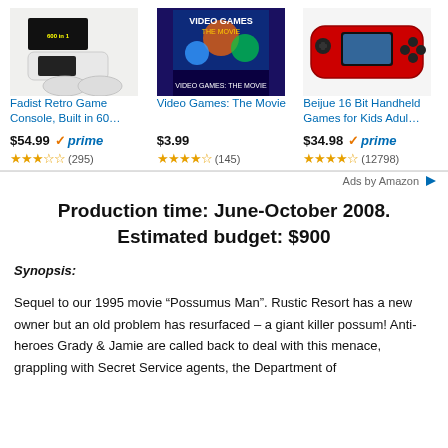[Figure (screenshot): Amazon advertisement bar with three products: Fadist Retro Game Console, Video Games: The Movie, and Beijue 16 Bit Handheld Games]
Ads by Amazon
Production time: June-October 2008. Estimated budget: $900
Synopsis:
Sequel to our 1995 movie “Possumus Man”. Rustic Resort has a new owner but an old problem has resurfaced – a giant killer possum! Anti-heroes Grady & Jamie are called back to deal with this menace, grappling with Secret Service agents, the Department of